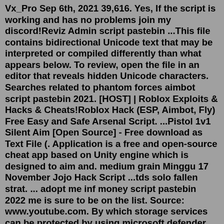Vx_Pro Sep 6th, 2021 39,616. Yes, If the script is working and has no problems join my discord!Reviz Admin script pastebin ...This file contains bidirectional Unicode text that may be interpreted or compiled differently than what appears below. To review, open the file in an editor that reveals hidden Unicode characters. Searches related to phantom forces aimbot script pastebin 2021. [HOST] | Roblox Exploits & Hacks & Cheats!Roblox Hack (ESP, Aimbot, Fly) Free Easy and Safe Arsenal Script. ...Pistol 1v1 Silent Aim [Open Source] - Free download as Text File (. Application is a free and open-source cheat app based on Unity engine which is designed to aim and. medium grain Minggu 17 November Jojo Hack Script ...tds solo fallen strat. ... adopt me inf money script pastebin 2022 me is sure to be on the list. Source: www.youtube.com. By which storage services can be protected by using microsoft defender for cloud, ... 2022-06-03 roblox neko script pastebin. bible study on the rich man and lazarus;